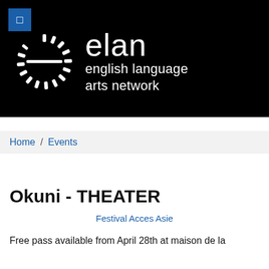[Figure (logo): ELAN - English Language Arts Network logo on black background with a sunburst/clock-like circular graphic in white, and a small blue square icon in top-left corner]
Home / Events
Okuni - THEATER
Festival Acces Asie
Free pass available from April 28th at maison de la